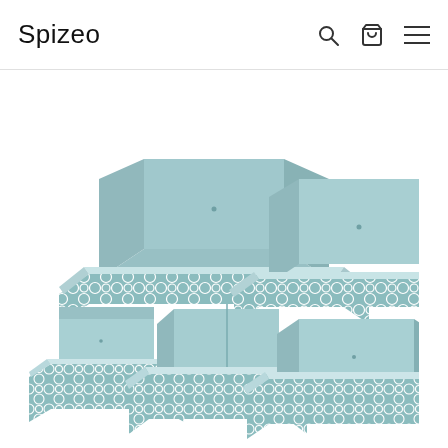Spizeo
[Figure (photo): A set of 5 light teal/blue fabric storage boxes or drawer organizers of varying sizes arranged in a group. The boxes have a Moroccan trellis (quatrefoil) white pattern on their exterior sides. They are foldable fabric bins shown from a slightly elevated perspective.]